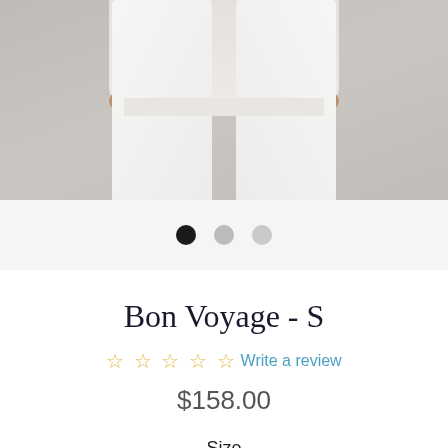[Figure (photo): Product photo showing a woman wearing white fitted pants and a blue top, hands on hips, cropped to torso and legs, with a neutral grey background.]
Bon Voyage - S
☆ ☆ ☆ ☆ ☆ Write a review
$158.00
Size